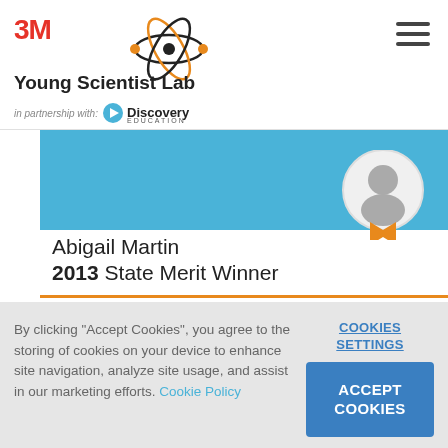3M Young Scientist Lab in partnership with Discovery Education
[Figure (screenshot): Profile banner showing Abigail Martin, 2013 State Merit Winner, with a blue header, default avatar icon with orange ribbon badge]
Abigail Martin
2013 State Merit Winner
By clicking "Accept Cookies", you agree to the storing of cookies on your device to enhance site navigation, analyze site usage, and assist in our marketing efforts. Cookie Policy
COOKIES SETTINGS
ACCEPT COOKIES